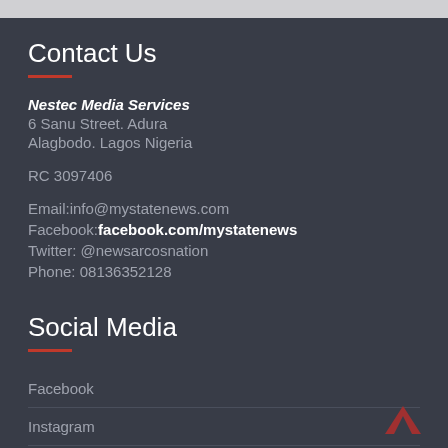Contact Us
Nestec Media Services
6 Sanu Street. Adura
Alagbodo. Lagos Nigeria
RC 3097406
Email:info@mystatenews.com
Facebook:facebook.com/mystatenews
Twitter: @newsarcosnation
Phone: 08136352128
Social Media
Facebook
Instagram